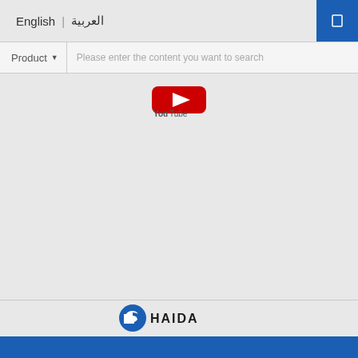English | العربية
Product ▼   Please enter the content you want to search
[Figure (logo): YouTube logo icon]
[Figure (logo): HAIDA company logo — blue circular emblem with stylized HD letters, text HAIDA below]